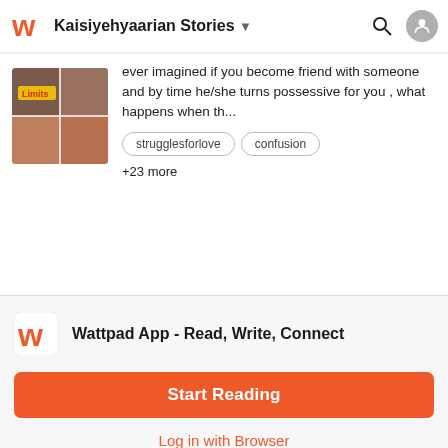Kaisiyehyaarian Stories
ever imagined if you become friend with someone and by time he/she turns possessive for you , what happens when th...
strugglesforlove
confusion
+23 more
Wattpad App - Read, Write, Connect
Start Reading
Log in with Browser